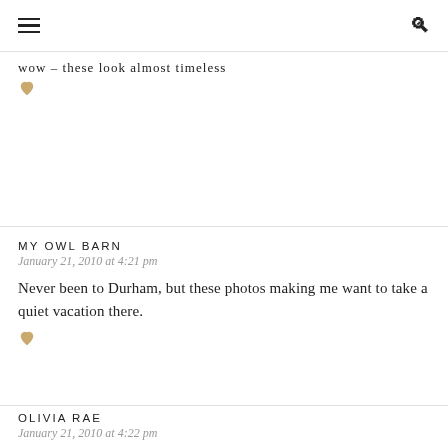☰  🔍
wow – these look almost timeless ♥
MY OWL BARN
January 21, 2010 at 4:21 pm
Never been to Durham, but these photos making me want to take a quiet vacation there. ♥
OLIVIA RAE
January 21, 2010 at 4:22 pm